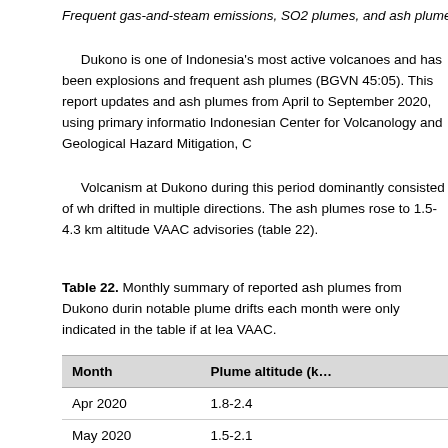Frequent gas-and-steam emissions, SO2 plumes, and ash plumes duri…
Dukono is one of Indonesia's most active volcanoes and has been… explosions and frequent ash plumes (BGVN 45:05). This report updates… and ash plumes from April to September 2020, using primary informatio… Indonesian Center for Volcanology and Geological Hazard Mitigation, C…
Volcanism at Dukono during this period dominantly consisted of wh… drifted in multiple directions. The ash plumes rose to 1.5-4.3 km altitude… VAAC advisories (table 22).
Table 22. Monthly summary of reported ash plumes from Dukono durin… notable plume drifts each month were only indicated in the table if at lea… VAAC.
| Month | Plume altitude (k… |
| --- | --- |
| Apr 2020 | 1.8-2.4 |
| May 2020 | 1.5-2.1 |
| Jun 2020 | 1.8-2.4 |
| Jul 2020 | 1.8-2.4 |